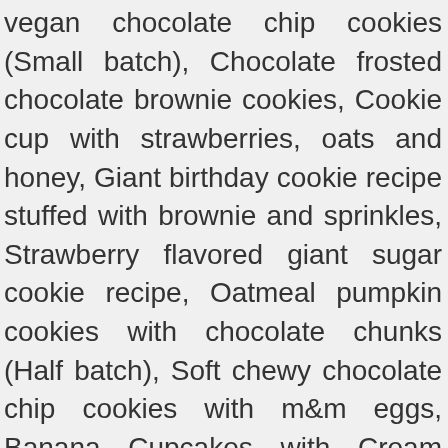vegan chocolate chip cookies (Small batch), Chocolate frosted chocolate brownie cookies, Cookie cup with strawberries, oats and honey, Giant birthday cookie recipe stuffed with brownie and sprinkles, Strawberry flavored giant sugar cookie recipe, Oatmeal pumpkin cookies with chocolate chunks (Half batch), Soft chewy chocolate chip cookies with m&m eggs, Banana Cupcakes with Cream Cheese Frosting, Easy chocolate cupcakes with strawberry frosting, Mini Chocolate Cupcakes with Chocolate Buttercream, Orange cupcake recipe with orange frosting, Cranberry orange muffin recipe with pistachios and white chocolate, Easy strawberry muffins with chocolate chips, Healthy chocolate muffins with chocolate chips and fresh cherries, Healthy raspberry muffins with chocolate chunks and almonds, Moist Orange and Poppy Seed Muffins With Orange Glaze, Pumpkin applesauce muffins with pumpkin spice chocolate streusel, Whole wheat chocolate walnut breakfast muffins, Overnight oatmeal in a jar with mango and berries, Easy scones with vanilla glaze and sprinkles, Dragon fruit smoothie bowl with seeds and fresh fruit toppings, Fall Halloween